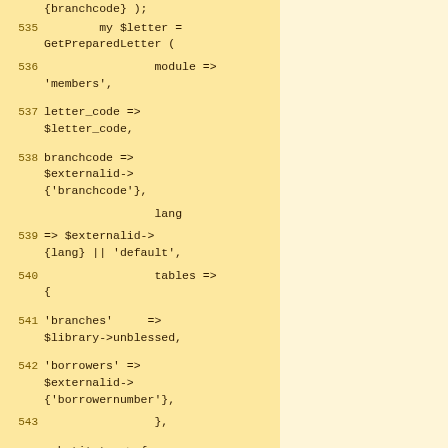[Figure (screenshot): Code snippet showing Perl code lines 535-543+ with line numbers on a yellow/amber background. The code shows a GetPreparedLetter function call with parameters including module, letter_code, branchcode, lang, tables (containing branches and borrowers), and substitute.]